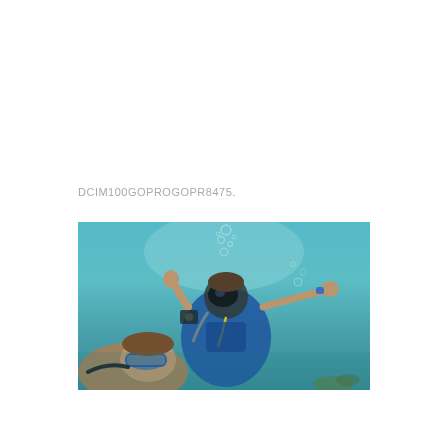DCIM100GOPROGOPR8475.
[Figure (photo): Underwater scuba diving photo taken with a GoPro camera. Two divers are visible underwater in clear teal-green water. The diver in the center is wearing a blue wetsuit, mask, and scuba gear with bubbles rising to the surface. Another diver or person is visible in the lower left foreground. The image has a wide-angle fisheye-like perspective typical of GoPro cameras.]